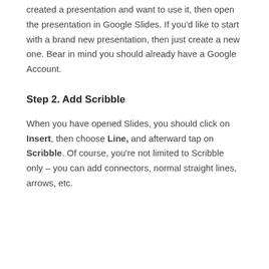created a presentation and want to use it, then open the presentation in Google Slides. If you'd like to start with a brand new presentation, then just create a new one. Bear in mind you should already have a Google Account.
Step 2. Add Scribble
When you have opened Slides, you should click on Insert, then choose Line, and afterward tap on Scribble. Of course, you're not limited to Scribble only – you can add connectors, normal straight lines, arrows, etc.